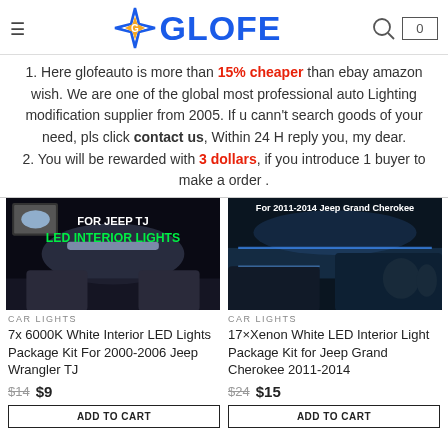GLOFE
1. Here glofeauto is more than 15% cheaper than ebay amazon wish. We are one of the global most professional auto Lighting modification supplier from 2005. If u cann't search goods of your need, pls click contact us, Within 24 H reply you, my dear.
2. You will be rewarded with 3 dollars, if you introduce 1 buyer to make a order .
[Figure (photo): FOR JEEP TJ LED INTERIOR LIGHTS - dark car interior with LED lighting]
[Figure (photo): For 2011-2014 Jeep Grand Cherokee - car interior with blue LED lighting]
CAR LIGHTS
7x 6000K White Interior LED Lights Package Kit For 2000-2006 Jeep Wrangler TJ
$14  $9
CAR LIGHTS
17×Xenon White LED Interior Light Package Kit for Jeep Grand Cherokee 2011-2014
$24  $15
ADD TO CART
ADD TO CART